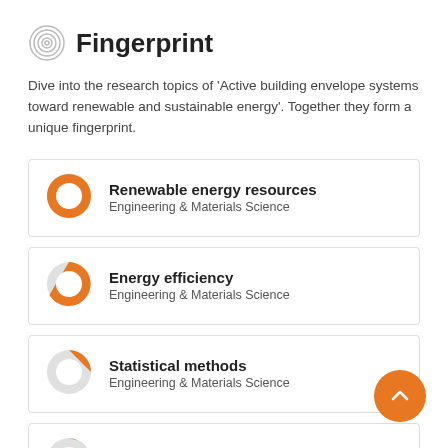Fingerprint
Dive into the research topics of 'Active building envelope systems toward renewable and sustainable energy'. Together they form a unique fingerprint.
Renewable energy resources — Engineering & Materials Science
Energy efficiency — Engineering & Materials Science
Statistical methods — Engineering & Materials Science
Heating — Engineering & Materials Science